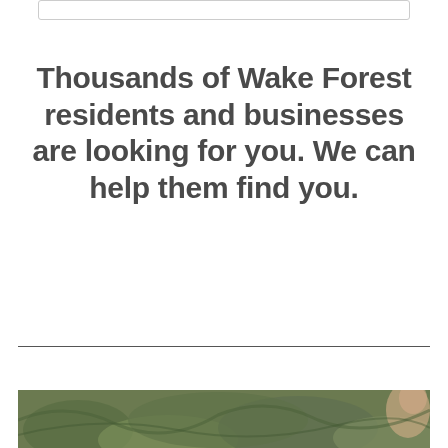Thousands of Wake Forest residents and businesses are looking for you. We can help them find you.
[Figure (photo): Partial view of a photo showing foliage/greenery at the bottom of the page]